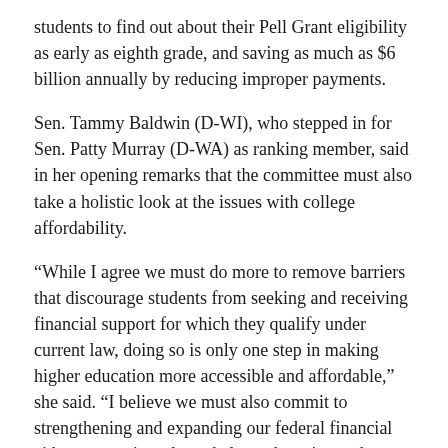students to find out about their Pell Grant eligibility as early as eighth grade, and saving as much as $6 billion annually by reducing improper payments.
Sen. Tammy Baldwin (D-WI), who stepped in for Sen. Patty Murray (D-WA) as ranking member, said in her opening remarks that the committee must also take a holistic look at the issues with college affordability.
“While I agree we must do more to remove barriers that discourage students from seeking and receiving financial support for which they qualify under current law, doing so is only one step in making higher education more accessible and affordable,” she said. “I believe we must also commit to strengthening and expanding our federal financial aid programs in order to help students in need afford the true costs of college and earn a higher education without taking on suffocating debt.”